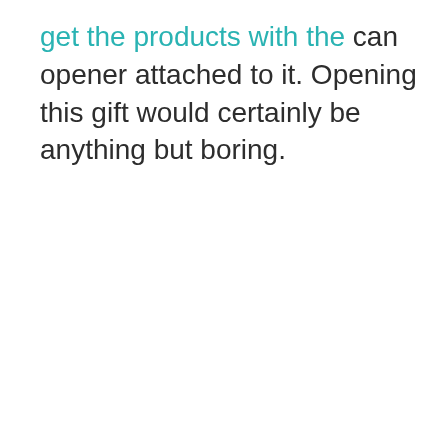get the products with the can opener attached to it. Opening this gift would certainly be anything but boring.